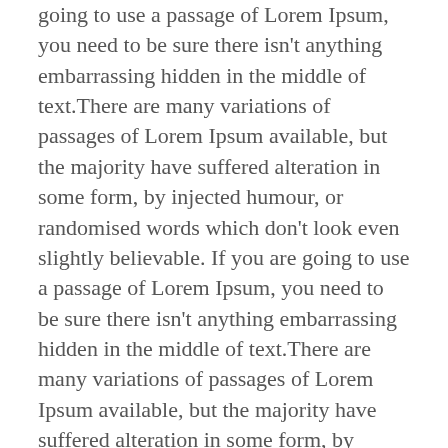going to use a passage of Lorem Ipsum, you need to be sure there isn't anything embarrassing hidden in the middle of text.There are many variations of passages of Lorem Ipsum available, but the majority have suffered alteration in some form, by injected humour, or randomised words which don't look even slightly believable. If you are going to use a passage of Lorem Ipsum, you need to be sure there isn't anything embarrassing hidden in the middle of text.There are many variations of passages of Lorem Ipsum available, but the majority have suffered alteration in some form, by injected humour, or randomised words which don't look even slightly believable. If you are going to use a passage of Lorem Ipsum, you need to be sure there isn't anything embarrassing hidden in the middle of text.There are many variations of passages of Lorem Ipsum available, but the majority have suffered alteration in some form, by injected humour, or randomised words which don't look even slightly believable. If you are going to use a passage of Lorem